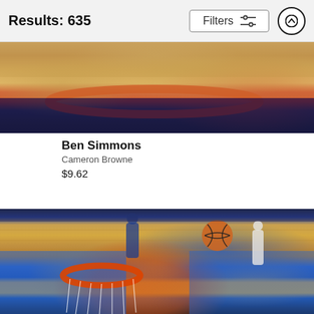Results: 635
Filters
[Figure (photo): Basketball game action photo showing Ben Simmons, cropped top portion - appears to be a dunk or layup near the basket with red rim visible]
Ben Simmons
Cameron Browne
$9.62
[Figure (photo): NBA basketball game photo showing a Dallas Mavericks player going up for a layup/dunk near the basket with orange rim, a basketball in the air, and Philadelphia 76ers players defending. The court shows the Mavericks logo and blue paint area. Large crowd visible in background.]